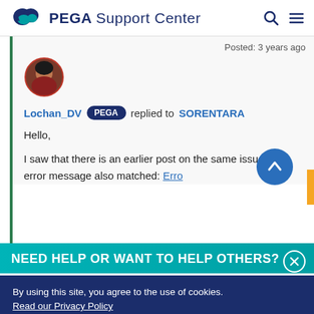PEGA Support Center
Posted: 3 years ago
[Figure (photo): Round user avatar photo of a woman]
Lochan_DV PEGA replied to SORENTARA
Hello,

I saw that there is an earlier post on the same issue, the error message also matched: Erro...
NEED HELP OR WANT TO HELP OTHERS?
By using this site, you agree to the use of cookies.
Read our Privacy Policy
Accept and continue
About cookies